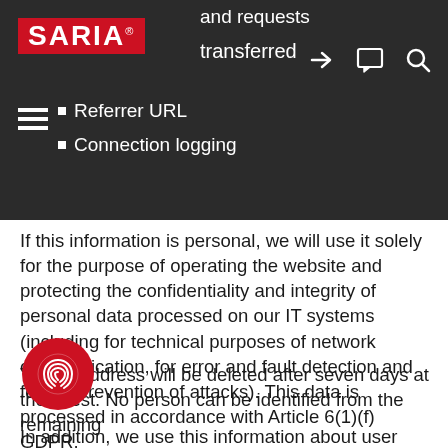and requests transferred
[Figure (logo): SARIA company logo — white text on red background]
Referrer URL
Connection logging
If this information is personal, we will use it solely for the purpose of operating the website and protecting the confidentiality and integrity of personal data processed on our IT systems (including for technical purposes of network communication, for error and fault detection and for the prevention of attacks). This data is processed in accordance with Article 6(1)(f) GDPR.
The IP address will be deleted after seven days at the latest. No person can be identified from the remaining
In addition, we use this information about user